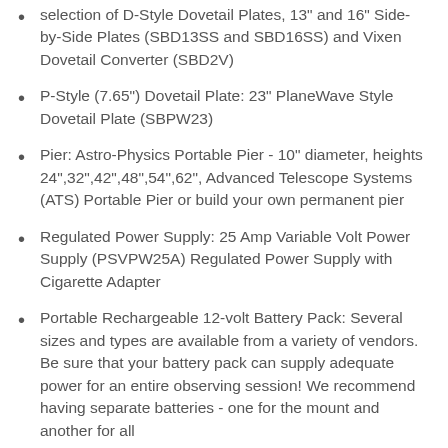selection of D-Style Dovetail Plates, 13" and 16" Side-by-Side Plates (SBD13SS and SBD16SS) and Vixen Dovetail Converter (SBD2V)
P-Style (7.65") Dovetail Plate: 23" PlaneWave Style Dovetail Plate (SBPW23)
Pier: Astro-Physics Portable Pier - 10" diameter, heights 24",32",42",48",54",62", Advanced Telescope Systems (ATS) Portable Pier or build your own permanent pier
Regulated Power Supply: 25 Amp Variable Volt Power Supply (PSVPW25A) Regulated Power Supply with Cigarette Adapter
Portable Rechargeable 12-volt Battery Pack: Several sizes and types are available from a variety of vendors. Be sure that your battery pack can supply adequate power for an entire observing session! We recommend having separate batteries - one for the mount and another for all